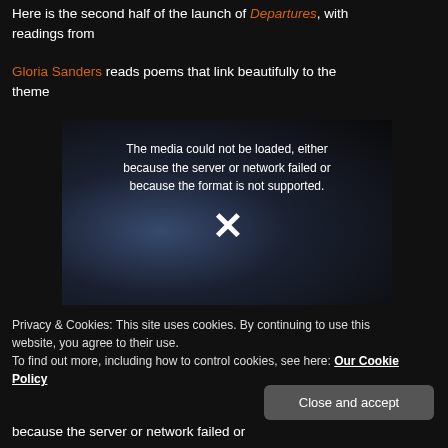Here is the second half of the launch of Departures, with readings from
Gloria Sanders reads poems that link beautifully to the theme
[Figure (screenshot): Embedded video player showing error: 'The media could not be loaded, either because the server or network failed or because the format is not supported.' with an X icon overlaid on a dark background showing a person reading.]
Privacy & Cookies: This site uses cookies. By continuing to use this website, you agree to their use.
To find out more, including how to control cookies, see here: Our Cookie Policy
Close and accept
because the server or network failed or